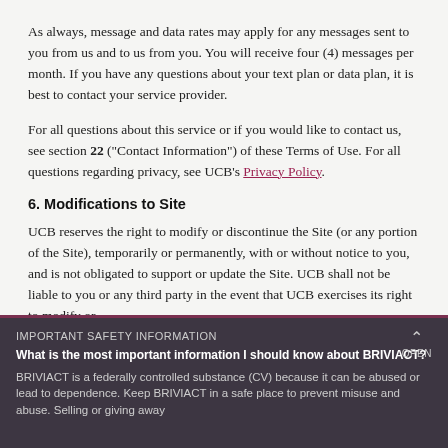As always, message and data rates may apply for any messages sent to you from us and to us from you. You will receive four (4) messages per month. If you have any questions about your text plan or data plan, it is best to contact your service provider.
For all questions about this service or if you would like to contact us, see section 22 ("Contact Information") of these Terms of Use. For all questions regarding privacy, see UCB's Privacy Policy.
6. Modifications to Site
UCB reserves the right to modify or discontinue the Site (or any portion of the Site), temporarily or permanently, with or without notice to you, and is not obligated to support or update the Site. UCB shall not be liable to you or any third party in the event that UCB exercises its right to modify or
IMPORTANT SAFETY INFORMATION
What is the most important information I should know about BRIVIACT?
BRIVIACT is a federally controlled substance (CV) because it can be abused or lead to dependence. Keep BRIVIACT in a safe place to prevent misuse and abuse. Selling or giving away